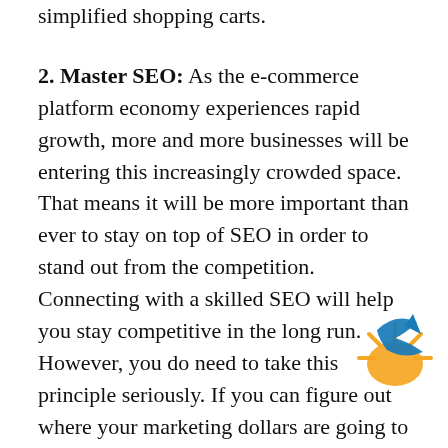simplified shopping carts.
2. Master SEO: As the e-commerce platform economy experiences rapid growth, more and more businesses will be entering this increasingly crowded space. That means it will be more important than ever to stay on top of SEO in order to stand out from the competition. Connecting with a skilled SEO will help you stay competitive in the long run. However, you do need to take this principle seriously. If you can figure out where your marketing dollars are going to produce the greatest return on investment, you'll have an easier time bringing in a steady stream of leads.
3. Find the right software for your business: As a business owner, you need to have the depth of vision to see potential issues before they even come up. For many e-commerce platform business owners, the software is something that needs to be addressed and evaluated on an
[Figure (logo): Orange and blue circular logo with sun and bird/arrow motif]